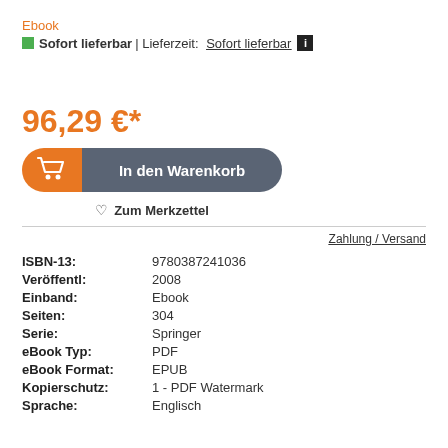Ebook
Sofort lieferbar| Lieferzeit: Sofort lieferbar [i]
96,29 €*
[Figure (other): In den Warenkorb button with shopping cart icon on orange background and dark grey label]
Zum Merkzettel
Zahlung / Versand
| ISBN-13: | 9780387241036 |
| Veröffentl: | 2008 |
| Einband: | Ebook |
| Seiten: | 304 |
| Serie: | Springer |
| eBook Typ: | PDF |
| eBook Format: | EPUB |
| Kopierschutz: | 1 - PDF Watermark |
| Sprache: | Englisch |